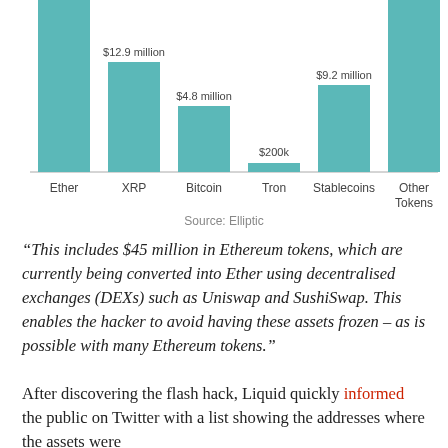[Figure (bar-chart): Stolen assets by cryptocurrency]
Source: Elliptic
“This includes $45 million in Ethereum tokens, which are currently being converted into Ether using decentralised exchanges (DEXs) such as Uniswap and SushiSwap. This enables the hacker to avoid having these assets frozen – as is possible with many Ethereum tokens.”
After discovering the flash hack, Liquid quickly informed the public on Twitter with a list showing the addresses where the assets were